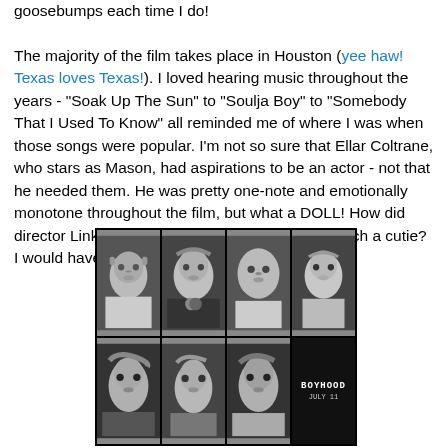goosebumps each time I do!

The majority of the film takes place in Houston (yee haw! Texas loves Texas!). I loved hearing music throughout the years - "Soak Up The Sun" to "Soulja Boy" to "Somebody That I Used To Know" all reminded me of where I was when those songs were popular. I'm not so sure that Ellar Coltrane, who stars as Mason, had aspirations to be an actor - not that he needed them. He was pretty one-note and emotionally monotone throughout the film, but what a DOLL! How did director Linklater know he would turn out to be such a cutie? I would have watched his story until he was 50.
[Figure (photo): Black and white photo grid showing 8 portraits of the same boy/young man at different ages, arranged in a 4x2 grid. The last cell in the bottom-right shows the text 'BOYHOOD JULY 11' on a dark background.]